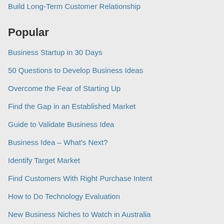Build Long-Term Customer Relationship
Popular
Business Startup in 30 Days
50 Questions to Develop Business Ideas
Overcome the Fear of Starting Up
Find the Gap in an Established Market
Guide to Validate Business Idea
Business Idea – What's Next?
Identify Target Market
Find Customers With Right Purchase Intent
How to Do Technology Evaluation
New Business Niches to Watch in Australia